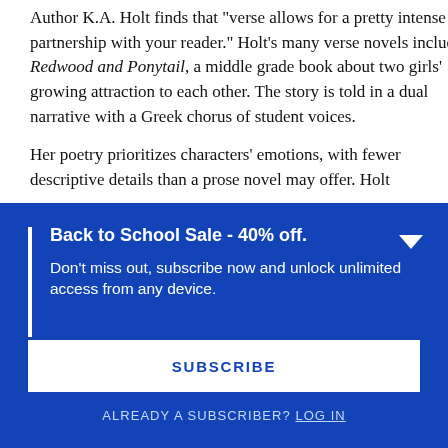Author K.A. Holt finds that "verse allows for a pretty intense partnership with your reader." Holt's many verse novels include Redwood and Ponytail, a middle grade book about two girls' growing attraction to each other. The story is told in a dual narrative with a Greek chorus of student voices.

Her poetry prioritizes characters' emotions, with fewer descriptive details than a prose novel may offer. Holt
Back to School Sale - 40% off.
Don't miss out, subscribe now and unlock unlimited access from any device.
SUBSCRIBE
ALREADY A SUBSCRIBER? LOG IN